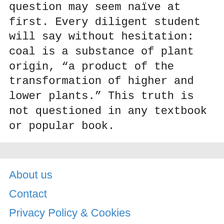question may seem nave at first. Every diligent student will say without hesitation: coal is a substance of plant origin, "a product of the transformation of higher and lower plants." This truth is not questioned in any textbook or popular book.
About us
Contact
Privacy Policy & Cookies
ATTENTION TO RIGHT HOLDERS! All materials are posted on the site strictly for informational and educational purposes! If you believe that the posting of any material is infringing your copyright, please contact us.